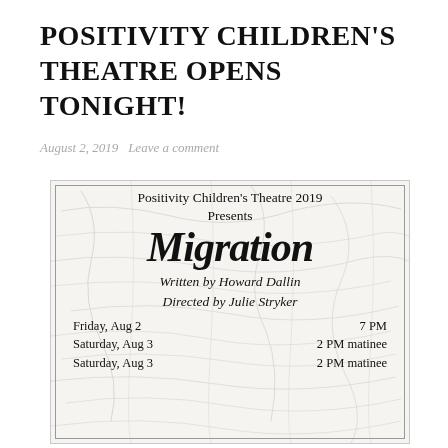POSITIVITY CHILDREN'S THEATRE OPENS TONIGHT!
August 2, 2019   Leave a comment
[Figure (illustration): Theatre poster for Positivity Children's Theatre 2019 production 'Migration'. Handwritten-style text on a map background. Written by Howard Dallin, Directed by Julie Stryker. Shows schedule: Friday Aug 2 7PM, Saturday Aug 3 2PM matinee, Saturday Aug 3 2PM matinee (partially visible).]